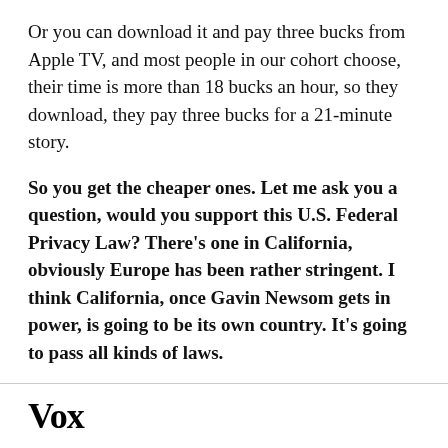Or you can download it and pay three bucks from Apple TV, and most people in our cohort choose, their time is more than 18 bucks an hour, so they download, they pay three bucks for a 21-minute story.
So you get the cheaper ones. Let me ask you a question, would you support this U.S. Federal Privacy Law? There's one in California, obviously Europe has been rather stringent. I think California, once Gavin Newsom gets in power, is going to be its own country. It's going to pass all kinds of laws.
Vox